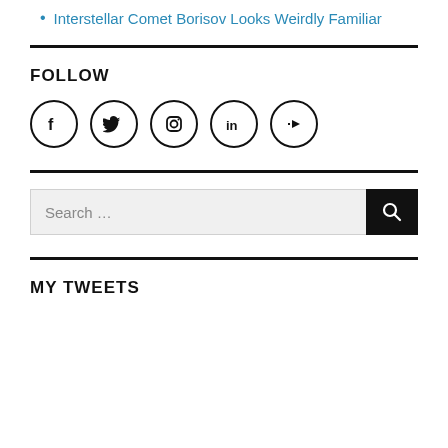Interstellar Comet Borisov Looks Weirdly Familiar
FOLLOW
[Figure (infographic): Row of five social media icon circles: Facebook, Twitter, Instagram, LinkedIn, YouTube]
Search …
MY TWEETS